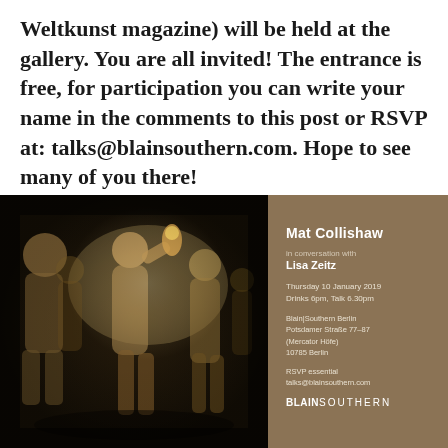Weltkunst magazine) will be held at the gallery. You are all invited! The entrance is free, for participation you can write your name in the comments to this post or RSVP at: talks@blainsouthern.com. Hope to see many of you there!
[Figure (photo): Left: Dark photograph of classical sculpture figures in warm amber/sepia tones, appearing to be dancers or athletes in motion. Right: Brown/tan panel with event details for Mat Collishaw in conversation with Lisa Zeitz, Thursday 10 January 2019, Drinks 6pm Talk 6.30pm, Blain|Southern Berlin, Potsdamer Straße 77-87, (Mercator Höfe), 10785 Berlin, RSVP essential talks@blainsouthern.com, Blain|Southern logo at bottom.]